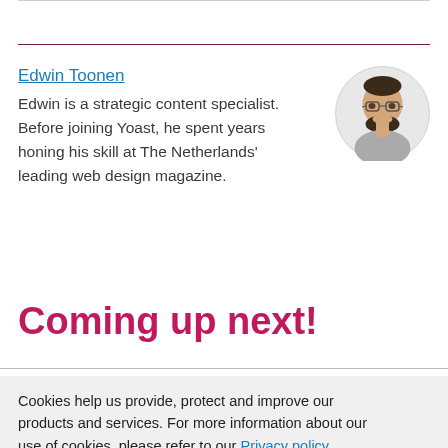Edwin Toonen
Edwin is a strategic content specialist. Before joining Yoast, he spent years honing his skill at The Netherlands' leading web design magazine.
[Figure (illustration): Circular avatar illustration of Edwin Toonen, a man with glasses and a beard, wearing a grey shirt]
Coming up next!
Cookies help us provide, protect and improve our products and services. For more information about our use of cookies, please refer to our Privacy policy.